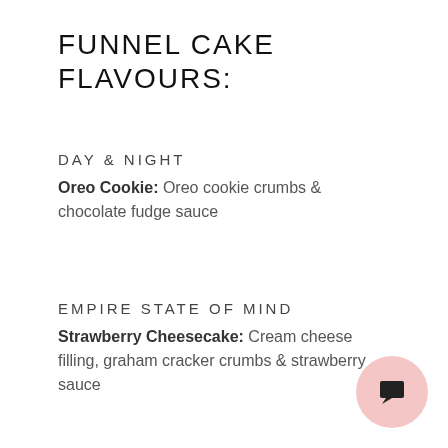FUNNEL CAKE FLAVOURS:
DAY & NIGHT
Oreo Cookie: Oreo cookie crumbs & chocolate fudge sauce
EMPIRE STATE OF MIND
Strawberry Cheesecake: Cream cheese filling, graham cracker crumbs & strawberry sauce
SHE'S NUTS
Fererro Rocher: Peanuts, Nutella & Chocolate
DON'T BE SHY, PUT S'MORE